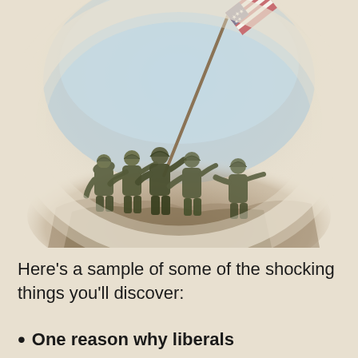[Figure (illustration): Painted illustration of the iconic Iwo Jima flag raising scene, showing several soldiers in WWII military uniforms raising an American flag on a rocky hillside, with a light blue sky in the background. The image has a painterly, artistic style and fades into the beige background.]
Here's a sample of some of the shocking things you'll discover:
One reason why liberals